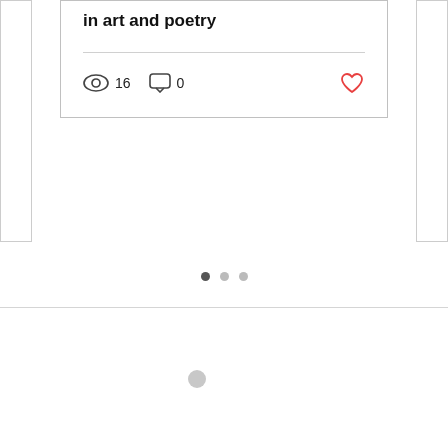in art and poetry
16 views  0 comments  like
[Figure (other): Pagination dots: one dark dot (active) followed by two lighter dots]
[Figure (other): Horizontal divider line below the pagination dots]
[Figure (other): A single small grey circle, likely a loading spinner indicator]